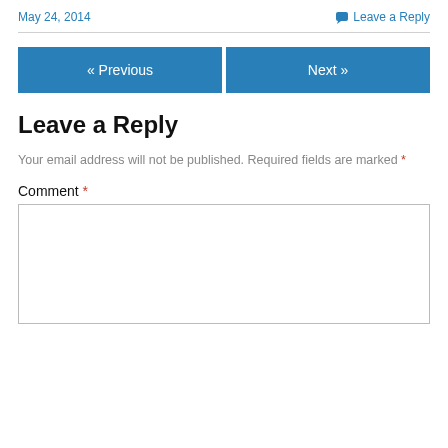May 24, 2014   Leave a Reply
« Previous   Next »
Leave a Reply
Your email address will not be published. Required fields are marked *
Comment *